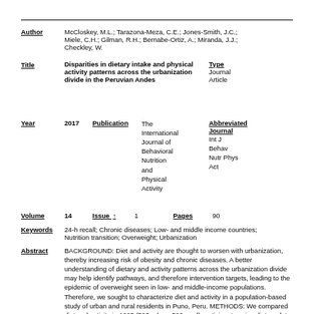Author: McCloskey, M.L.; Tarazona-Meza, C.E.; Jones-Smith, J.C.; Miele, C.H.; Gilman, R.H.; Bernabe-Ortiz, A.; Miranda, J.J.; Checkley, W.
Title: Disparities in dietary intake and physical activity patterns across the urbanization divide in the Peruvian Andes | Type: Journal Article
Year: 2017 | Publication: The International Journal of Behavioral Nutrition and Physical Activity | Abbreviated Journal: Int J Behav Nutr Phys Act
Volume: 14 | Issue: 1 | Pages: 90
Keywords: 24-h recall; Chronic diseases; Low- and middle income countries; Nutrition transition; Overweight; Urbanization
Abstract: BACKGROUND: Diet and activity are thought to worsen with urbanization, thereby increasing risk of obesity and chronic diseases. A better understanding of dietary and activity patterns across the urbanization divide may help identify pathways, and therefore intervention targets, leading to the epidemic of overweight seen in low- and middle-income populations. Therefore, we sought to characterize diet and activity in a population-based study of urban and rural residents in Puno, Peru. METHODS: We compared diet and activity in 1005 (503 urban, 502 rural) participants using dietary data questionnaires. We